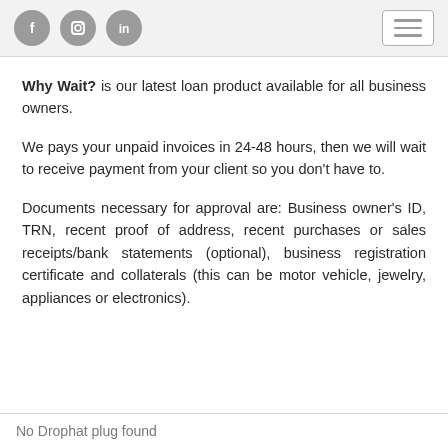Social media icons (Facebook, Instagram, LinkedIn) and hamburger menu button
Why Wait? is our latest loan product available for all business owners.
We pays your unpaid invoices in 24-48 hours, then we will wait to receive payment from your client so you don't have to.
Documents necessary for approval are: Business owner's ID, TRN, recent proof of address, recent purchases or sales receipts/bank statements (optional), business registration certificate and collaterals (this can be motor vehicle, jewelry, appliances or electronics).
No Drophat plug found